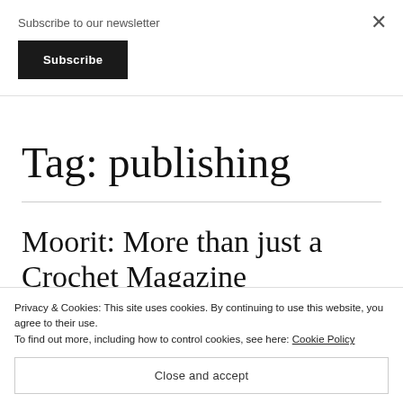Subscribe to our newsletter
Subscribe
Tag: publishing
Moorit: More than just a Crochet Magazine
Privacy & Cookies: This site uses cookies. By continuing to use this website, you agree to their use.
To find out more, including how to control cookies, see here: Cookie Policy
Close and accept